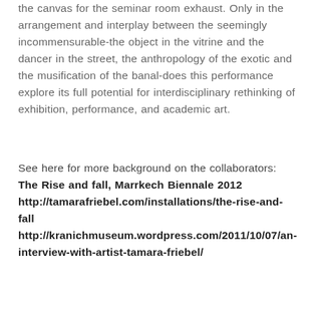the canvas for the seminar room exhaust. Only in the arrangement and interplay between the seemingly incommensurable-the object in the vitrine and the dancer in the street, the anthropology of the exotic and the musification of the banal-does this performance explore its full potential for interdisciplinary rethinking of exhibition, performance, and academic art.
See here for more background on the collaborators: The Rise and fall, Marrkech Biennale 2012 http://tamarafriebel.com/installations/the-rise-and-fall http://kranichmuseum.wordpress.com/2011/10/07/an-interview-with-artist-tamara-friebel/